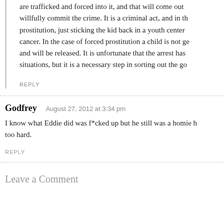are trafficked and forced into it, and that will come out willfully commit the crime. It is a criminal act, and in th prostitution, just sticking the kid back in a youth center cancer. In the case of forced prostitution a child is not ge and will be released. It is unfortunate that the arrest has situations, but it is a necessary step in sorting out the go
REPLY
Godfrey  August 27, 2012 at 3:34 pm
I know what Eddie did was f*cked up but he still was a homie b too hard.
REPLY
Leave a Comment